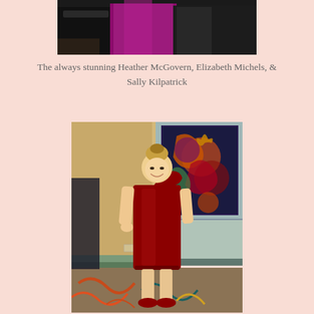[Figure (photo): Partial group photo showing three women in formal dresses at what appears to be an event — one in black, one in magenta/purple, one in a lace or patterned gown. Only lower portions visible, cropped at top of page.]
The always stunning Heather McGovern, Elizabeth Michels, & Sally Kilpatrick
[Figure (photo): A smiling blonde woman in a red one-shoulder satin cocktail dress standing in a hotel hallway with colorful patterned carpet. Colorful artwork visible on wall behind her.]